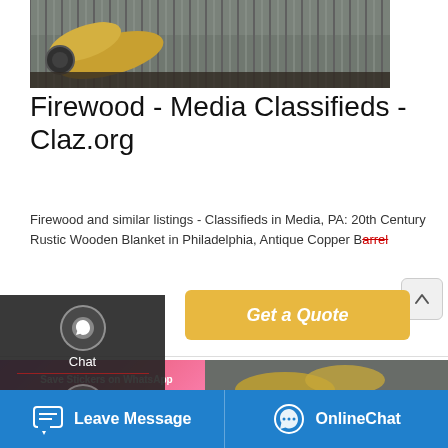[Figure (photo): Industrial equipment with yellow pipes and corrugated metal background]
Firewood - Media Classifieds - Claz.org
Firewood and similar listings - Classifieds in Media, PA: 20th Century Rustic Wooden Blanket in Philadelphia, Antique Copper Barrel...
[Figure (screenshot): Get a Quote button (yellow/gold rounded button)]
[Figure (infographic): Save Stickers on WhatsApp - pink/purple banner with WhatsApp and emoji icons]
[Figure (photo): Second industrial equipment photo at bottom right]
[Figure (screenshot): Left sidebar with Chat, Email, and Contact options with dark overlay]
[Figure (screenshot): Bottom blue bar with Leave Message and OnlineChat buttons]